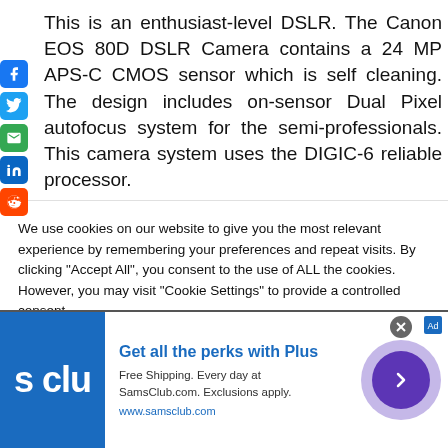This is an enthusiast-level DSLR. The Canon EOS 80D DSLR Camera contains a 24 MP APS-C CMOS sensor which is self cleaning. The design includes on-sensor Dual Pixel autofocus system for the semi-professionals. This camera system uses the DIGIC-6 reliable processor.
[Figure (infographic): Social sharing sidebar with Facebook, Twitter, Email, LinkedIn, and Reddit icons]
We use cookies on our website to give you the most relevant experience by remembering your preferences and repeat visits. By clicking "Accept All", you consent to the use of ALL the cookies. However, you may visit "Cookie Settings" to provide a controlled consent.
Cookie Settings | Accept All (buttons)
[Figure (infographic): Sam's Club advertisement banner: Get all the perks with Plus. Free Shipping. Every day at SamsClub.com. Exclusions apply. www.samsclub.com]